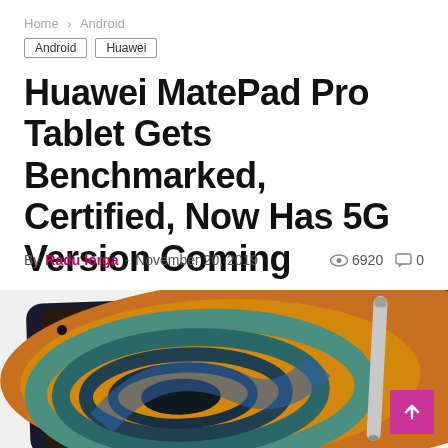Home > Android
Android
Huawei
Huawei MatePad Pro Tablet Gets Benchmarked, Certified, Now Has 5G Version Coming
By Radu Iorga - November 20, 2019  6920  0
[Figure (photo): Huawei MatePad Pro tablet shown at an angle with a colorful spiral wallpaper on screen and a stylus pen beside it]